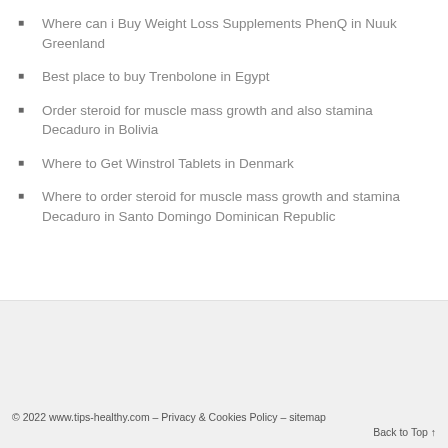Where can i Buy Weight Loss Supplements PhenQ in Nuuk Greenland
Best place to buy Trenbolone in Egypt
Order steroid for muscle mass growth and also stamina Decaduro in Bolivia
Where to Get Winstrol Tablets in Denmark
Where to order steroid for muscle mass growth and stamina Decaduro in Santo Domingo Dominican Republic
© 2022 www.tips-healthy.com – Privacy & Cookies Policy – sitemap
Back to Top ↑